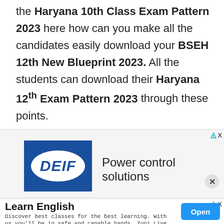the Haryana 10th Class Exam Pattern 2023 here how can you make all the candidates easily download your BSEH 12th New Blueprint 2023. All the students can download their Haryana 12th Exam Pattern 2023 through these points.
[Figure (other): Advertisement banner: DEIF logo (blue square with white oval and DEIF text) with text 'Power control solutions' and a close button]
[Figure (other): Advertisement banner: Learn English - Discover best classes for the best learning. With us you'll be in safe and capable hands. Zoni Live Institute. With an Open button.]